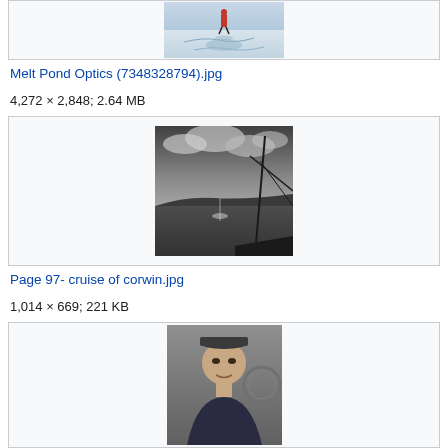[Figure (photo): Person in red suit standing on melting Arctic ice with cracks and melt ponds visible]
Melt Pond Optics (7348328794).jpg
4,272 × 2,848; 2.64 MB
[Figure (photo): Black and white photo of a ship at sea with dramatic cloudy sky and arctic/ocean scenery]
Page 97- cruise of corwin.jpg
1,014 × 669; 221 KB
[Figure (photo): Partial view of a portrait photo of a person, cropped at bottom of page]